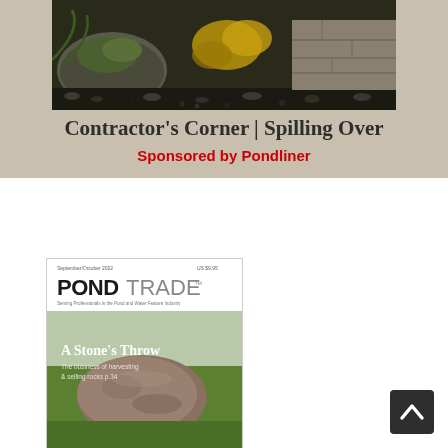[Figure (photo): Outdoor water feature with rocks and plants, illuminated, top banner area]
Contractor’s Corner | Spilling Over
Sponsored by Pondliner
[Figure (photo): Magazine cover of PondTrade, September/October 2022, featuring a large stone in a field with headline 'A Stone's Throw - The business of harvesting & selling rocks p.34']